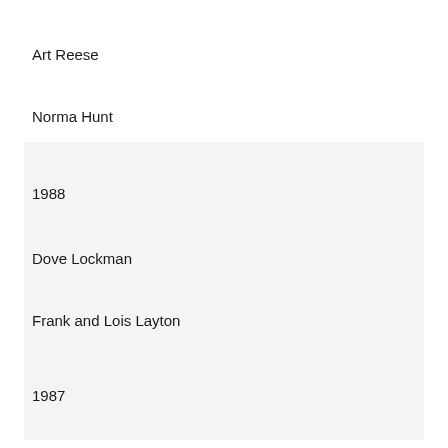Art Reese
Norma Hunt
1988
Dove Lockman
Frank and Lois Layton
1987